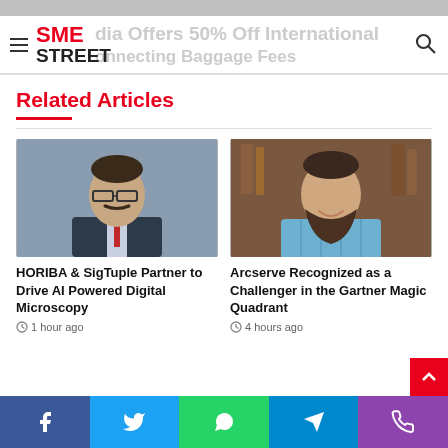SME STREET — dia Offers 50% Off International onnecting Baggage Fees
Related Articles
[Figure (photo): Headshot of a man wearing glasses and a suit with a red tie]
HORIBA & SigTuple Partner to Drive AI Powered Digital Microscopy
1 hour ago
[Figure (photo): Headshot of a man with a beard smiling, wearing a blue checked shirt]
Arcserve Recognized as a Challenger in the Gartner Magic Quadrant
4 hours ago